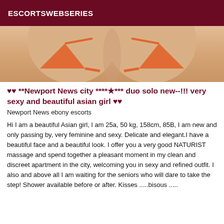ESCORTSWEBSERIES
[Figure (photo): Close-up photo of a person wearing an orange bikini top]
♥♥ **Newport News city ****★*** duo solo new--!!! very sexy and beautiful asian girl ♥♥
Newport News ebony escorts
Hi I am a beautiful Asian girl, I am 25a, 50 kg, 158cm, 85B, I am new and only passing by, very feminine and sexy. Delicate and elegant.I have a beautiful face and a beautiful look. I offer you a very good NATURIST massage and spend together a pleasant moment in my clean and discreet apartment in the city, welcoming you in sexy and refined outfit. I also and above all I am waiting for the seniors who will dare to take the step! Shower available before or after. Kisses .....bisous .....